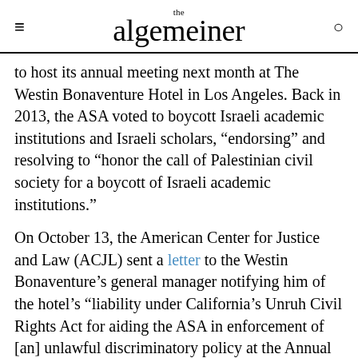the algemeiner
to host its annual meeting next month at The Westin Bonaventure Hotel in Los Angeles. Back in 2013, the ASA voted to boycott Israeli academic institutions and Israeli scholars, “endorsing” and resolving to “honor the call of Palestinian civil society for a boycott of Israeli academic institutions.”
On October 13, the American Center for Justice and Law (ACJL) sent a letter to the Westin Bonaventure’s general manager notifying him of the hotel’s “liability under California’s Unruh Civil Rights Act for aiding the ASA in enforcement of [an] unlawful discriminatory policy at the Annual Meeting on the premises of the Westin